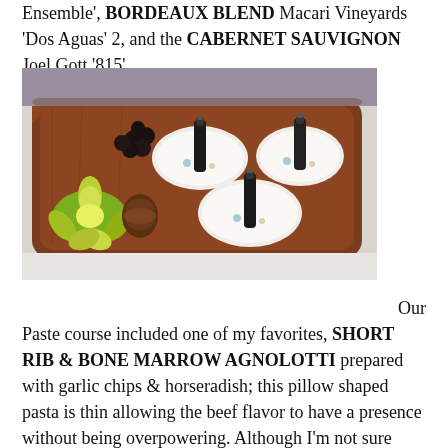Ensemble', BORDEAUX BLEND Macari Vineyards 'Dos Aguas' 2, and the CABERNET SAUVIGNON Joel Gott '815'.
[Figure (photo): A wooden tray holding three small white porcelain bowls each with a dark glass bottle (essential oil or similar), alongside a green succulent plant and a decorative brown pine cone, all arranged on a white cloth surface.]
Our Paste course included one of my favorites, SHORT RIB & BONE MARROW AGNOLOTTI prepared with garlic chips & horseradish; this pillow shaped pasta is thin allowing the beef flavor to have a presence without being overpowering. Although I'm not sure how, I think it was even better than the